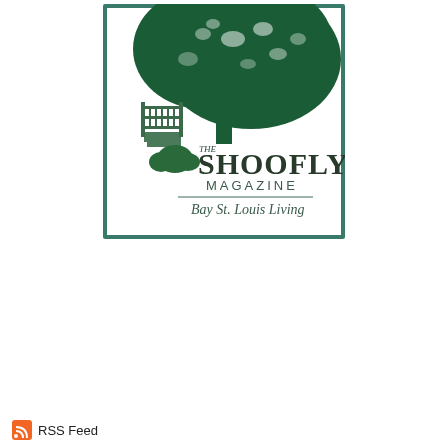[Figure (logo): The Shoofly Magazine logo — a square image with a dark teal/green border. Inside: a large illustrated oak tree in dark green over a white background, with a garden gate and steps scene below. Text reads 'THE SHOOFLY MAGAZINE' in large serif font and 'Bay St. Louis Living' in script below a horizontal line.]
RSS Feed